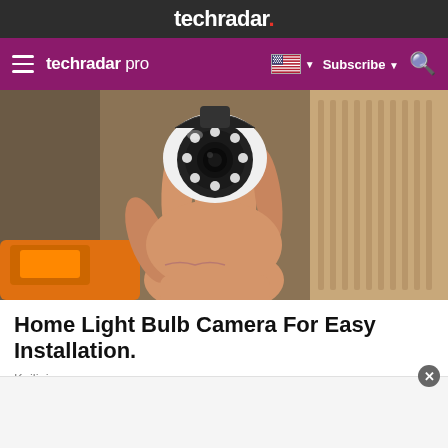techradar.
techradar pro   Subscribe
[Figure (photo): A hand holding a small white dome-shaped security camera with LED ring, an orange drill visible in the background along with cardboard packaging.]
Home Light Bulb Camera For Easy Installation.
Keilini